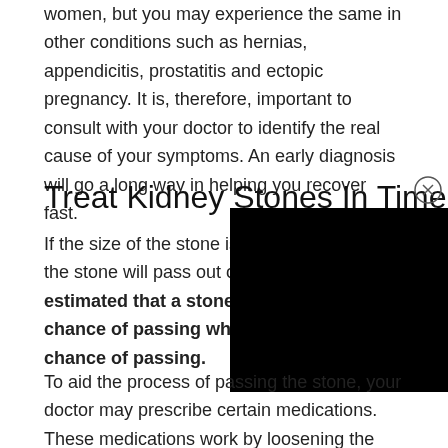women, but you may experience the same in other conditions such as hernias, appendicitis, prostatitis and ectopic pregnancy. It is, therefore, important to consult with your doctor to identify the real cause of your symptoms. An early diagnosis will go a long way in helping you recover fast.
Treat Kidney Stones In Time
If the size of the stone is small, the stone will pass out on its own. It is estimated that a stone of size 4 [mm] has an 80% chance of passing while a stone [larger] has a lower chance of passing.
To aid the process of passing the stone, your doctor may prescribe certain medications. These medications work by loosening the muscles of the urinary tract, thereby